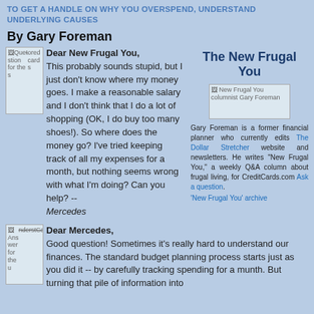TO GET A HANDLE ON WHY YOU OVERSPEND, UNDERSTAND UNDERLYING CAUSES
By Gary Foreman
Dear New Frugal You, This probably sounds stupid, but I just don't know where my money goes. I make a reasonable salary and I don't think that I do a lot of shopping (OK, I do buy too many shoes!). So where does the money go? I've tried keeping track of all my expenses for a month, but nothing seems wrong with what I'm doing? Can you help? -- Mercedes
The New Frugal You
[Figure (photo): New Frugal You columnist Gary Foreman - broken image placeholder]
Gary Foreman is a former financial planner who currently edits The Dollar Stretcher website and newsletters. He writes "New Frugal You," a weekly Q&A column about frugal living, for CreditCards.com Ask a question. 'New Frugal You' archive
Dear Mercedes, Good question! Sometimes it's really hard to understand our finances. The standard budget planning process starts just as you did it -- by carefully tracking spending for a munth. But turning that pile of information into